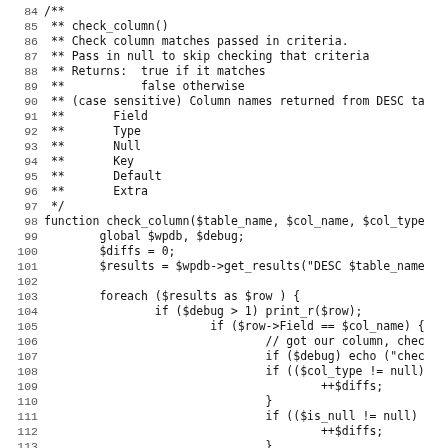84 /**
85  ** check_column()
86  ** Check column matches passed in criteria.
87  ** Pass in null to skip checking that criteria
88  ** Returns:  true if it matches
89  **           false otherwise
90  ** (case sensitive) Column names returned from DESC ta
91  **       Field
92  **       Type
93  **       Null
94  **       Key
95  **       Default
96  **       Extra
97  */
98 function check_column($table_name, $col_name, $col_type
99         global $wpdb, $debug;
100         $diffs = 0;
101         $results = $wpdb->get_results("DESC $table_name
102
103         foreach ($results as $row ) {
104                 if ($debug > 1) print_r($row);
105                         if ($row->Field == $col_name) {
106                                 // got our column, chec
107                                 if ($debug) echo ("chec
108                                 if (($col_type != null)
109                                         ++$diffs;
110                                 }
111                                 if (($is_null != null)
112                                         ++$diffs;
113                                 }
114                                 if (($key != null) && (
115                                         ++$diffs;